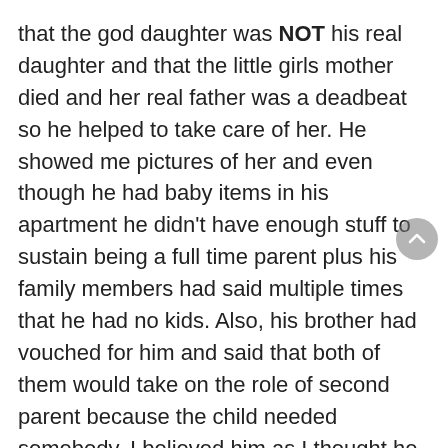that the god daughter was NOT his real daughter and that the little girls mother died and her real father was a deadbeat so he helped to take care of her. He showed me pictures of her and even though he had baby items in his apartment he didn't have enough stuff to sustain being a full time parent plus his family members had said multiple times that he had no kids. Also, his brother had vouched for him and said that both of them would take on the role of second parent because the child needed somebody. I believed him as I thought he literally had no reason to lie and I thought it was noble of him to be there for the child who needed parents. But one day he randomly confessed that the girl was his real